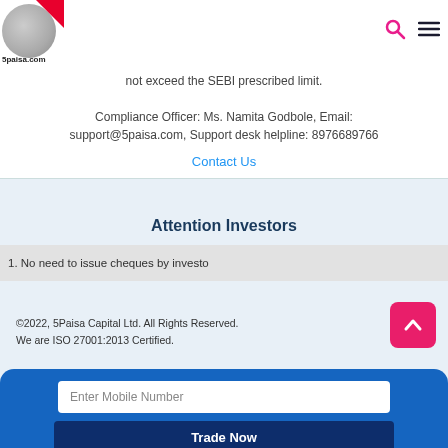[Figure (logo): 5paisa.com logo with grey metallic circle and red corner]
not exceed the SEBI prescribed limit.
Compliance Officer: Ms. Namita Godbole, Email: support@5paisa.com, Support desk helpline: 8976689766
Contact Us
Attention Investors
1. No need to issue cheques by investo
©2022, 5Paisa Capital Ltd. All Rights Reserved.
We are ISO 27001:2013 Certified.
Enter Mobile Number
Trade Now